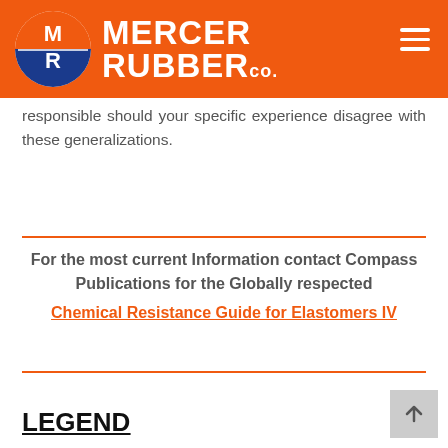[Figure (logo): Mercer Rubber Co. logo with orange header bar, circular M/R emblem in blue and orange, and white sans-serif text reading MERCER RUBBER Co. with hamburger menu icon on right]
responsible should your specific experience disagree with these generalizations.
For the most current Information contact Compass Publications for the Globally respected Chemical Resistance Guide for Elastomers IV
LEGEND